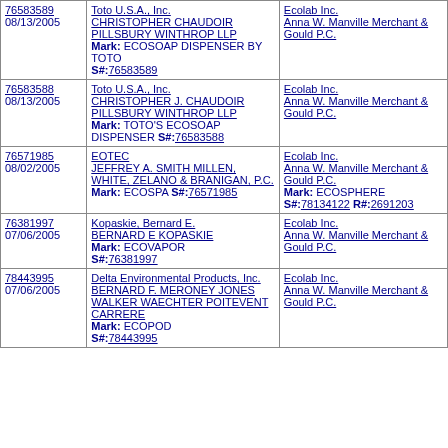| Serial / Date | Applicant / Attorney / Mark / S# | Defendant / Attorney / Mark / S# / R# |
| --- | --- | --- |
| 76583589
08/13/2005 | Toto U.S.A., Inc.
CHRISTOPHER CHAUDOIR
PILLSBURY WINTHROP LLP
Mark: ECOSOAP DISPENSER BY TOTO
S#:76583589 | Ecolab Inc.
Anna W. Manville Merchant & Gould P.C. |
| 76583588
08/13/2005 | Toto U.S.A., Inc.
CHRISTOPHER J. CHAUDOIR PILLSBURY WINTHROP LLP
Mark: TOTO'S ECOSOAP DISPENSER S#:76583588 | Ecolab Inc.
Anna W. Manville Merchant & Gould P.C. |
| 76571985
08/02/2005 | EOTEC
JEFFREY A. SMITH MILLEN, WHITE, ZELANO & BRANIGAN, P.C.
Mark: ECOSPA S#:76571985 | Ecolab Inc.
Anna W. Manville Merchant & Gould P.C.
Mark: ECOSPHERE
S#:78134122 R#:2691203 |
| 76381997
07/06/2005 | Kopaskie, Bernard E.
BERNARD E KOPASKIE
Mark: ECOVAPOR
S#:76381997 | Ecolab Inc.
Anna W. Manville Merchant & Gould P.C. |
| 78443995
07/06/2005 | Delta Environmental Products, Inc.
BERNARD F. MERONEY JONES WALKER WAECHTER POITEVENT CARRERE
Mark: ECOPOD
S#:78443995 | Ecolab Inc.
Anna W. Manville Merchant & Gould P.C. |